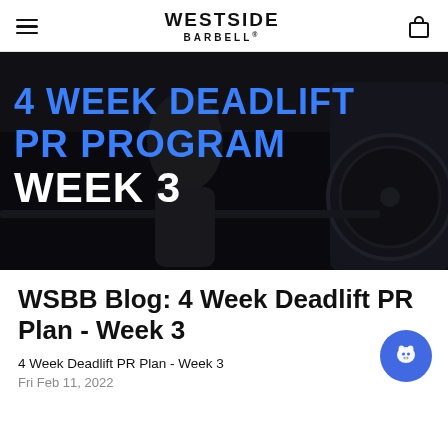WESTSIDE BARBELL
[Figure (photo): Dark gym photo with a powerlifter gripping a loaded barbell. Overlaid text reads '4 WEEK DEADLIFT PR PROGRAM WEEK 3' in large blue and white bold letters.]
WSBB Blog: 4 Week Deadlift PR Plan - Week 3
4 Week Deadlift PR Plan - Week 3
Fri Feb 11, 2022